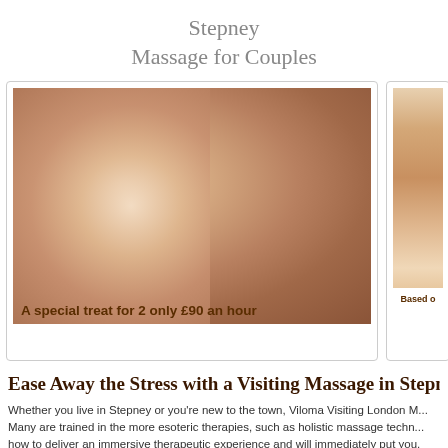Stepney
Massage for Couples
[Figure (photo): Two people receiving head massages side by side, overlaid with text 'A special treat for 2 only £90 an hour']
[Figure (photo): Partial view of a massage being performed on a person's back/shoulder, with text 'Based o...']
Ease Away the Stress with a Visiting Massage in Stepn...
Whether you live in Stepney or you're new to the town, Viloma Visiting London M... Many are trained in the more esoteric therapies, such as holistic massage techn... how to deliver an immersive therapeutic experience and will immediately put you...
Our London massage service covers all of inner London but if you live or wo... accommodate you.